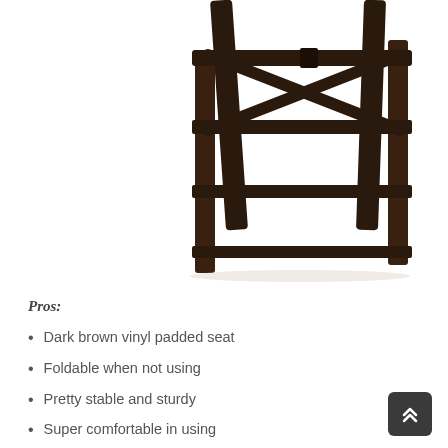[Figure (photo): Close-up photo of the lower portion of a dark brown wooden folding bar stool/chair showing the legs, rungs, and cross-braces against a white background]
Pros:
Dark brown vinyl padded seat
Foldable when not using
Pretty stable and sturdy
Super comfortable in using